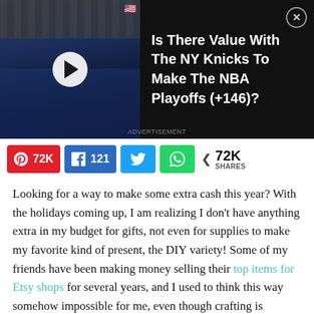[Figure (screenshot): Video ad banner showing a basketball player dunking with dark background and arena seats. Title reads 'Is There Value With The NY Knicks To Make The NBA Playoffs (+146)?']
[Figure (infographic): Social share bar with Pinterest (72K), Facebook (121), Twitter, WhatsApp buttons and 72K SHARES count]
Looking for a way to make some extra cash this year? With the holidays coming up, I am realizing I don't have anything extra in my budget for gifts, not even for supplies to make my favorite kind of present, the DIY variety! Some of my friends have been making money selling their top items for Etsy shops for several years, and I used to think this way somehow impossible for me, even though crafting is absolutely my favorite past time. I am just not quite as artistic as my BFF, and not nearly as tech-savvy as some of the other. Last month, I finally sat down and looked at